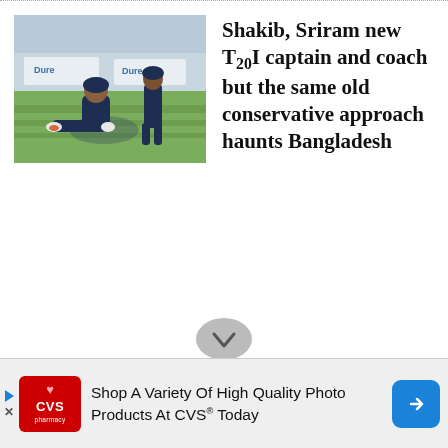[Figure (photo): Cricket players on a field, one sitting on the ground stretching while another stands nearby. Players are wearing dark navy uniforms. Green grass and stadium boards visible in background.]
Shakib, Sriram new T20I captain and coach but the same old conservative approach haunts Bangladesh
[Figure (other): Circular scroll-down button with chevron/arrow pointing downward, grey background, partially visible at bottom of page.]
[Figure (other): CVS Pharmacy advertisement banner: Shop A Variety Of High Quality Photo Products At CVS® Today with CVS pharmacy logo and navigation arrow button.]